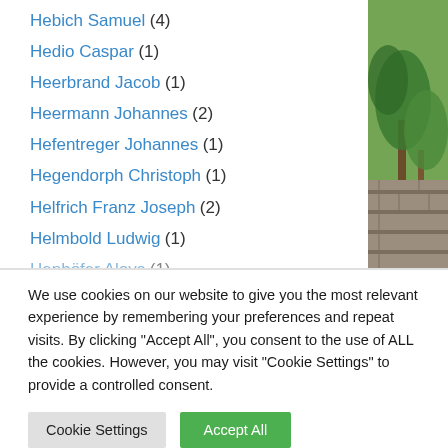Hebich Samuel (4)
Hedio Caspar (1)
Heerbrand Jacob (1)
Heermann Johannes (2)
Hefentreger Johannes (1)
Hegendorph Christoph (1)
Helfrich Franz Joseph (2)
Helmbold Ludwig (1)
Henhöfer Aloys (1)
We use cookies on our website to give you the most relevant experience by remembering your preferences and repeat visits. By clicking "Accept All", you consent to the use of ALL the cookies. However, you may visit "Cookie Settings" to provide a controlled consent.